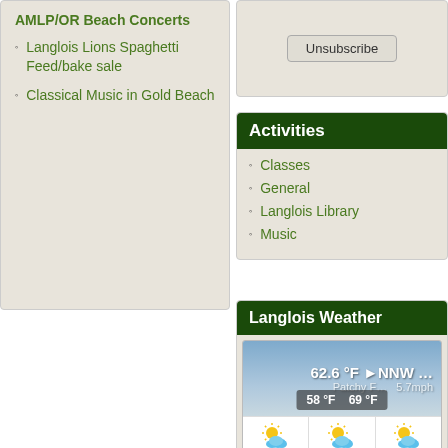AMLP/OR Beach Concerts
Langlois Lions Spaghetti Feed/bake sale
Classical Music in Gold Beach
Unsubscribe
Activities
Classes
General
Langlois Library
Music
Langlois Weather
[Figure (screenshot): Weather widget showing current temperature 62.6°F, NNW wind, Patchy F..., 5.7mph, range 58°F to 69°F, and 3-day forecast: TUE 57/70, WED 58/69, THU 58/70. Footer shows 7:18 PM and WillyWeather.]